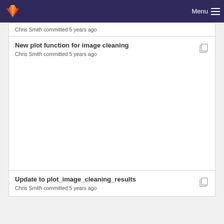Menu
Chris Smith committed 5 years ago
New plot function for image cleaning
Chris Smith committed 5 years ago
Update to plot_image_cleaning_results
Chris Smith committed 5 years ago